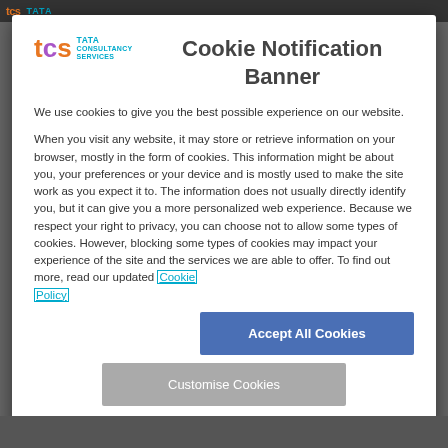tcs TATA
[Figure (logo): TCS Tata Consultancy Services logo with orange 't', purple 'c', orange 's' letters and blue TATA CONSULTANCY SERVICES text]
Cookie Notification Banner
We use cookies to give you the best possible experience on our website.
When you visit any website, it may store or retrieve information on your browser, mostly in the form of cookies. This information might be about you, your preferences or your device and is mostly used to make the site work as you expect it to. The information does not usually directly identify you, but it can give you a more personalized web experience. Because we respect your right to privacy, you can choose not to allow some types of cookies. However, blocking some types of cookies may impact your experience of the site and the services we are able to offer. To find out more, read our updated Cookie Policy
Accept All Cookies
Customise Cookies